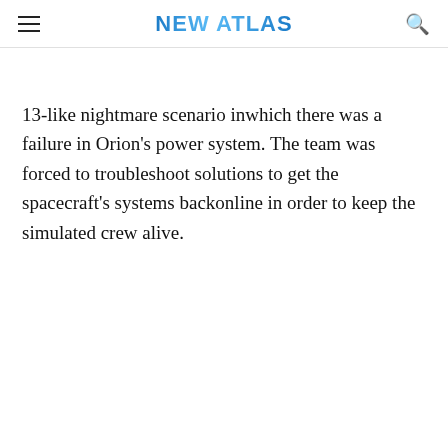NEW ATLAS
13-like nightmare scenario inwhich there was a failure in Orion's power system. The team was forced to troubleshoot solutions to get the spacecraft's systems backonline in order to keep the simulated crew alive.